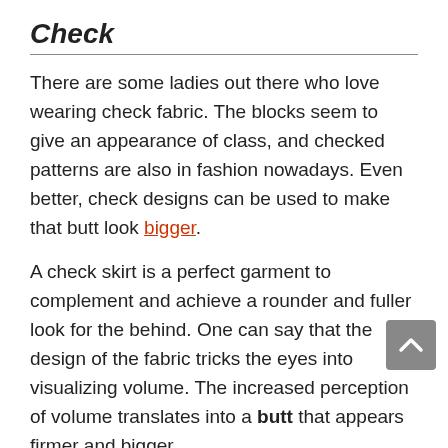Check
There are some ladies out there who love wearing check fabric. The blocks seem to give an appearance of class, and checked patterns are also in fashion nowadays. Even better, check designs can be used to make that butt look bigger.
A check skirt is a perfect garment to complement and achieve a rounder and fuller look for the behind. One can say that the design of the fabric tricks the eyes into visualizing volume. The increased perception of volume translates into a butt that appears firmer and bigger.